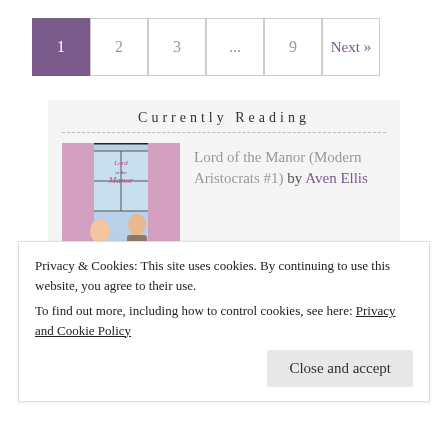1  2  3  ...  9  Next »
Currently Reading
[Figure (illustration): Book cover for Lord of the Manor (Modern Aristocrats #1) by Aven Ellis showing illustrated woman in blue dress and man in front of a manor]
Lord of the Manor (Modern Aristocrats #1) by Aven Ellis
Privacy & Cookies: This site uses cookies. By continuing to use this website, you agree to their use.
To find out more, including how to control cookies, see here: Privacy and Cookie Policy
Close and accept